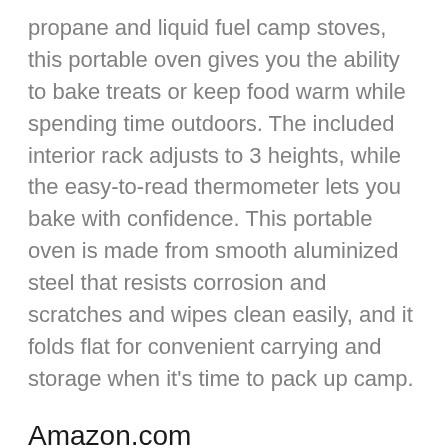propane and liquid fuel camp stoves, this portable oven gives you the ability to bake treats or keep food warm while spending time outdoors. The included interior rack adjusts to 3 heights, while the easy-to-read thermometer lets you bake with confidence. This portable oven is made from smooth aluminized steel that resists corrosion and scratches and wipes clean easily, and it folds flat for convenient carrying and storage when it's time to pack up camp.
Amazon.com
Camping stoves and other cooking accessories have made it possible to cook most things outdoors, but baked goods have always been out of the question. Until now, that is. Made of smooth aluminized steel, the Coleman camping oven lets you bake a batch of muffins, biscuits, or rolls right at the campsite.